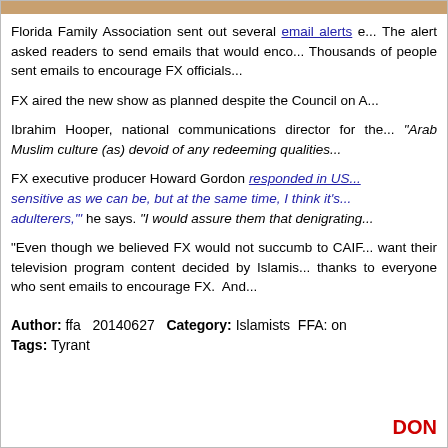[Figure (photo): Partial photo strip at top of page, showing a cropped image with warm brown/orange tones]
Florida Family Association sent out several email alerts e... The alert asked readers to send emails that would enco... Thousands of people sent emails to encourage FX officials...
FX aired the new show as planned despite the Council on A...
Ibrahim Hooper, national communications director for the... "Arab Muslim culture (as) devoid of any redeeming qualities...
FX executive producer Howard Gordon responded in US... sensitive as we can be, but at the same time, I think it's... adulterers,'" he says. "I would assure them that denigrating...
"Even though we believed FX would not succumb to CAIF... want their television program content decided by Islamis... thanks to everyone who sent emails to encourage FX.  And...
Author: ffa   20140627   Category: Islamists  FFA: on
Tags: Tyrant